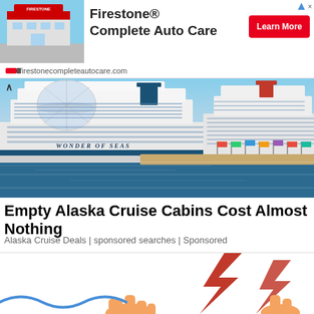[Figure (photo): Firestone Complete Auto Care store exterior photo used in ad banner]
Firestone® Complete Auto Care
Learn More
firestonecompleteautocare.com
[Figure (photo): Photo of two large cruise ships docked at port, including the Wonder of the Seas]
Empty Alaska Cruise Cabins Cost Almost Nothing
Alaska Cruise Deals | sponsored searches | Sponsored
[Figure (illustration): Partial bottom image showing lightning bolt and hands illustration]